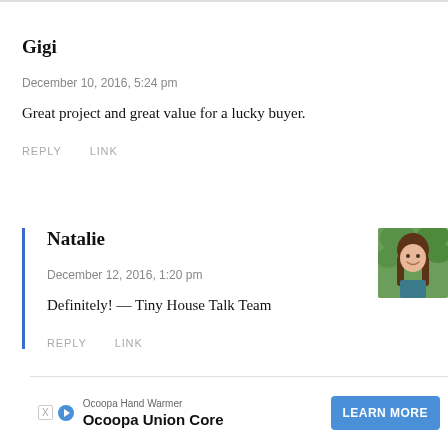Gigi
December 10, 2016, 5:24 pm
Great project and great value for a lucky buyer.
REPLY   LINK
Natalie
[Figure (photo): Profile photo of a young woman with long brown hair, smiling, outdoors with green foliage background]
December 12, 2016, 1:20 pm
Definitely! — Tiny House Talk Team
REPLY   LINK
Ocoopa Hand Warmer
Ocoopa Union Core
LEARN MORE